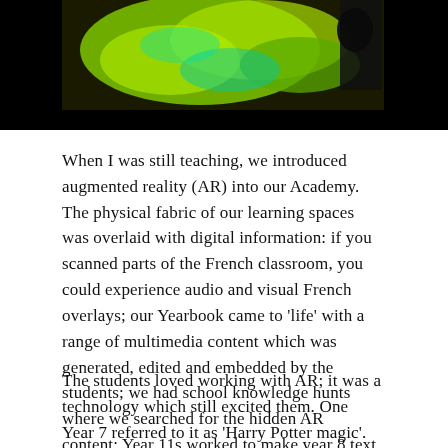[Figure (photo): Top portion of an illustration or photo with green and black tones, partially cropped at the top of the page]
When I was still teaching, we introduced augmented reality (AR) into our Academy. The physical fabric of our learning spaces was overlaid with digital information: if you scanned parts of the French classroom, you could experience audio and visual French overlays; our Yearbook came to 'life' with a range of multimedia content which was generated, edited and embedded by the students; we had school knowledge hunts where we searched for the hidden AR content; Year 11s worked to make year 8 text books interactive using AR.
The students loved working with AR; it was a technology which still excited them. One Year 7 referred to it as 'Harry Potter magic'.